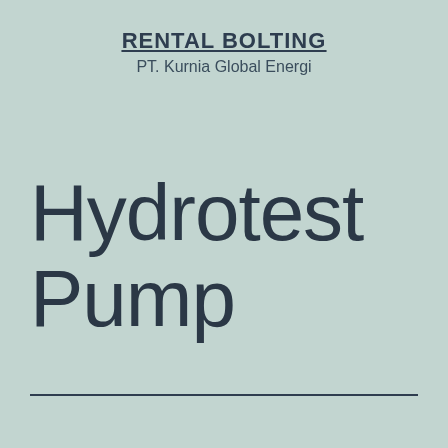RENTAL BOLTING
PT. Kurnia Global Energi
Hydrotest Pump